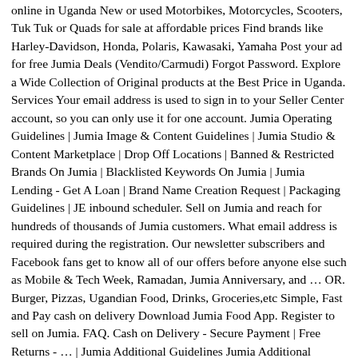online in Uganda New or used Motorbikes, Motorcycles, Scooters, Tuk Tuk or Quads for sale at affordable prices Find brands like Harley-Davidson, Honda, Polaris, Kawasaki, Yamaha Post your ad for free Jumia Deals (Vendito/Carmudi) Forgot Password. Explore a Wide Collection of Original products at the Best Price in Uganda. Services Your email address is used to sign in to your Seller Center account, so you can only use it for one account. Jumia Operating Guidelines | Jumia Image & Content Guidelines | Jumia Studio & Content Marketplace | Drop Off Locations | Banned & Restricted Brands On Jumia | Blacklisted Keywords On Jumia | Jumia Lending - Get A Loan | Brand Name Creation Request | Packaging Guidelines | JE inbound scheduler. Sell on Jumia and reach for hundreds of thousands of Jumia customers. What email address is required during the registration. Our newsletter subscribers and Facebook fans get to know all of our offers before anyone else such as Mobile & Tech Week, Ramadan, Jumia Anniversary, and … OR. Burger, Pizzas, Ugandian Food, Drinks, Groceries,etc Simple, Fast and Pay cash on delivery Download Jumia Food App. Register to sell on Jumia. FAQ. Cash on Delivery - Secure Payment | Free Returns - … | Jumia Additional Guidelines Jumia Additional Guidelines Forgot Password. Jumia Press Kit Africa Mobile Report 2019. Get access to over 200m … Send New Password. Sell online in Uganda on Jumia and watch your business grow. To become a seller in Jumia means to enjoy having more than 4,500,000 visitors to your shop monthly. 100% Africa, 100% Internet • Jumia builds a digital Africa, connecting Africans with